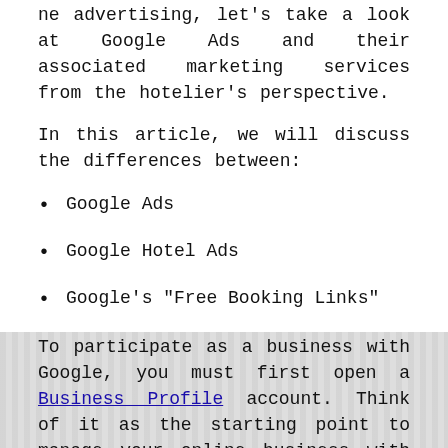ne advertising, let's take a look at Google Ads and their associated marketing services from the hotelier's perspective.
In this article, we will discuss the differences between:
Google Ads
Google Hotel Ads
Google's "Free Booking Links"
To participate as a business with Google, you must first open a Business Profile account. Think of it as the starting point to manage your online business with Google, including Search and Maps. This helps customers find your business and tells them your story. You can also verify and edit your business information and manage customer reviews.